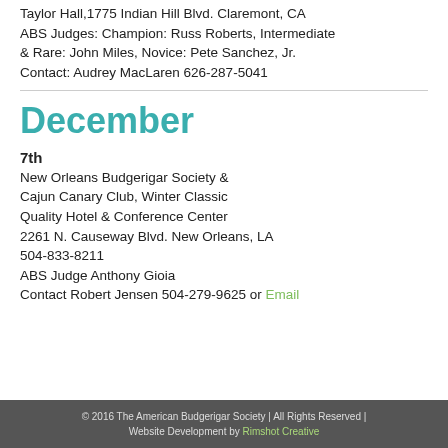Taylor Hall,1775 Indian Hill Blvd. Claremont, CA ABS Judges: Champion: Russ Roberts, Intermediate & Rare: John Miles, Novice: Pete Sanchez, Jr. Contact: Audrey MacLaren 626-287-5041
December
7th
New Orleans Budgerigar Society & Cajun Canary Club, Winter Classic Quality Hotel & Conference Center 2261 N. Causeway Blvd. New Orleans, LA 504-833-8211 ABS Judge Anthony Gioia Contact Robert Jensen 504-279-9625 or Email
© 2016 The American Budgerigar Society | All Rights Reserved | Website Development by Rimshot Creative